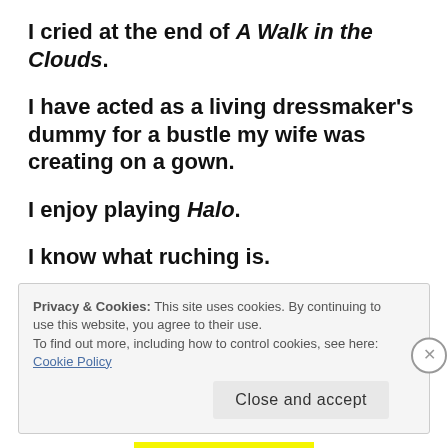I cried at the end of A Walk in the Clouds.
I have acted as a living dressmaker's dummy for a bustle my wife was creating on a gown.
I enjoy playing Halo.
I know what ruching is.
I am obsessed with gadgets.
Privacy & Cookies: This site uses cookies. By continuing to use this website, you agree to their use.
To find out more, including how to control cookies, see here: Cookie Policy
Close and accept